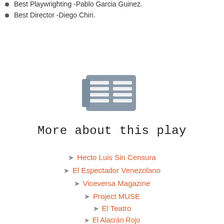Best Playwrighting -Pablo Garcia Guinez.
Best Director -Diego Chiri.
[Figure (illustration): A grey newspaper/document icon with horizontal lines suggesting text columns]
More about this play
Hecto Luis Sin Censura
El Espectador Venezolano
Viceversa Magazine
Project MUSE
El Teatro
El Alacrán Rojo
Artez